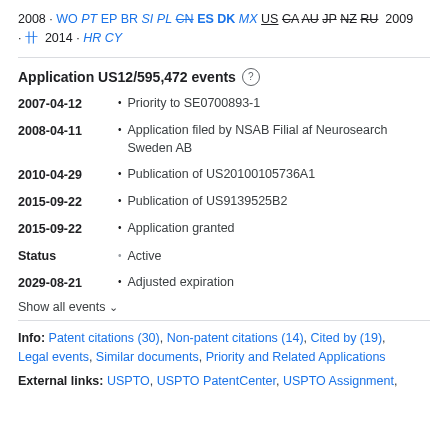2008 · WO PT EP BR SI PL CN ES DK MX US CA AU JP NZ RU  2009 · 卄  2014 · HR CY
Application US12/595,472 events
2007-04-12 · Priority to SE0700893-1
2008-04-11 · Application filed by NSAB Filial af Neurosearch Sweden AB
2010-04-29 · Publication of US20100105736A1
2015-09-22 · Publication of US9139525B2
2015-09-22 · Application granted
Status · Active
2029-08-21 · Adjusted expiration
Show all events
Info: Patent citations (30), Non-patent citations (14), Cited by (19), Legal events, Similar documents, Priority and Related Applications
External links: USPTO, USPTO PatentCenter, USPTO Assignment,